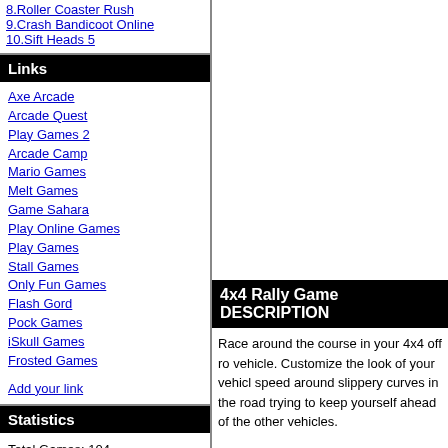8. Roller Coaster Rush
9. Crash Bandicoot Online
10. Sift Heads 5
Links
Axe Arcade
Arcade Quest
Play Games 2
Arcade Camp
Mario Games
Melt Games
Game Sahara
Play Online Games
Play Games
Stall Games
Only Fun Games
Flash Gord
Pock Games
iSkull Games
Frosted Games
Add your link
Statistics
Total Games: 104
Played Today: 336
Overall Played: 165857
Total Members: 47
Newest Member: Outland9
Users Online: 6 (0 members and 6 guests)
Game Search
4x4 Rally Game DESCRIPTION
Race around the course in your 4x4 off ro vehicle. Customize the look of your vehicl speed around slippery curves in the road trying to keep yourself ahead of the other vehicles.